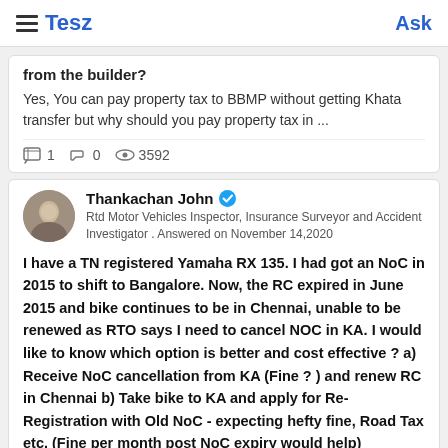Tesz  Ask
from the builder?
Yes, You can pay property tax to BBMP without getting Khata transfer but why should you pay property tax in ...
1  0  3592
Thankachan John
Rtd Motor Vehicles Inspector, Insurance Surveyor and Accident Investigator . Answered on November 14,2020
I have a TN registered Yamaha RX 135. I had got an NoC in 2015 to shift to Bangalore. Now, the RC expired in June 2015 and bike continues to be in Chennai, unable to be renewed as RTO says I need to cancel NOC in KA. I would like to know which option is better and cost effective ? a) Receive NoC cancellation from KA (Fine ? ) and renew RC in Chennai b) Take bike to KA and apply for Re-Registration with Old NoC - expecting hefty fine, Road Tax etc. (Fine per month post NoC expiry would help) Limitation : In